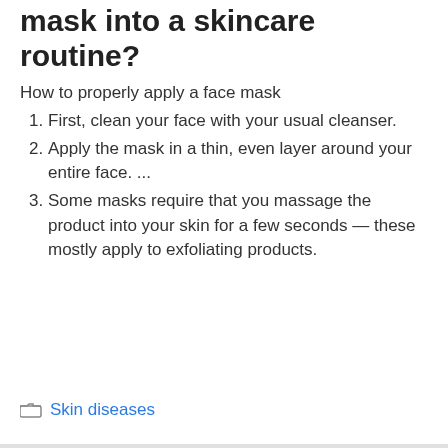mask into a skincare routine?
How to properly apply a face mask
First, clean your face with your usual cleanser.
Apply the mask in a thin, even layer around your entire face. ...
Some masks require that you massage the product into your skin for a few seconds — these mostly apply to exfoliating products.
Skin diseases